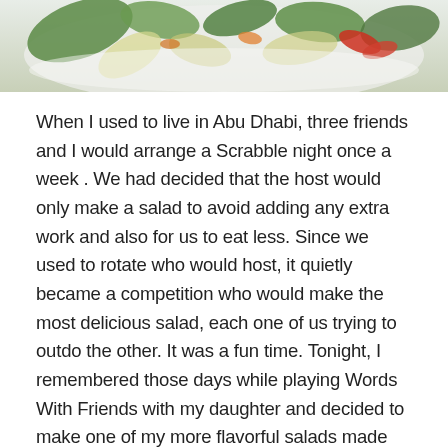[Figure (photo): Close-up photo of a salad with endives, colorful vegetables including red pepper, and green leafy ingredients on a white plate]
When I used to live in Abu Dhabi, three friends and I would arrange a Scrabble night once a week . We had decided that the host would only make a salad to avoid adding any extra work and also for us to eat less. Since we used to rotate who would host, it quietly became a competition who would make the most delicious salad, each one of us trying to outdo the other. It was a fun time. Tonight, I remembered those days while playing Words With Friends with my daughter and decided to make one of my more flavorful salads made with endives, parmesan cheese and dressing made out of cheese also.
Ingredients:
3 endives